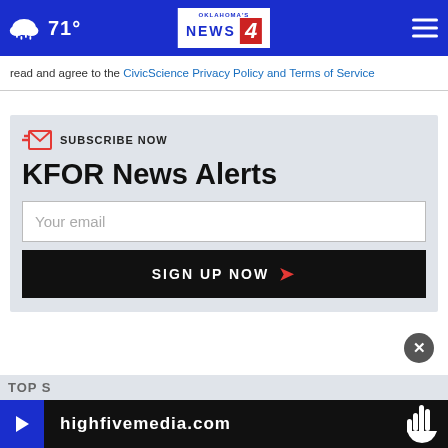Oklahoma's News 4 — 71°
read and agree to the CivicScience Privacy Policy and Terms of Service
SUBSCRIBE NOW
KFOR News Alerts
Your email
SIGN UP NOW
TOP S
highfivemedia.com